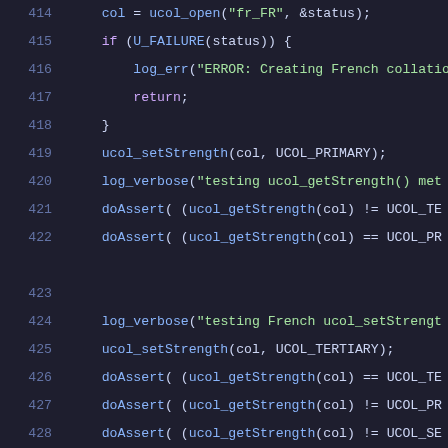[Figure (screenshot): Source code listing showing C/C++ code with line numbers 414-435, dark theme editor with syntax highlighting. Lines show ICU collation API calls including ucol_setStrength, log_verbose, doAssert, ucol_getStrength, ucol_close, and ucol_getDisplayName functions.]